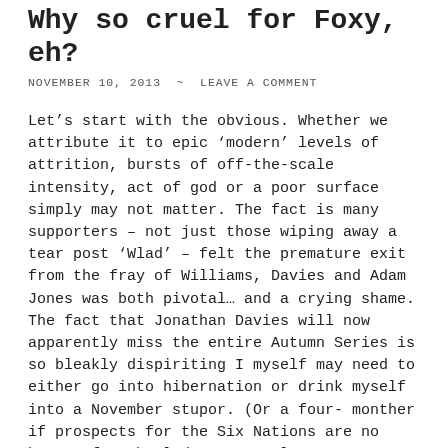Why so cruel for Foxy, eh?
NOVEMBER 10, 2013 ~ LEAVE A COMMENT
Let’s start with the obvious. Whether we attribute it to epic ‘modern’ levels of attrition, bursts of off-the-scale intensity, act of god or a poor surface simply may not matter. The fact is many supporters – not just those wiping away a tear post ‘Wlad’ – felt the premature exit from the fray of Williams, Davies and Adam Jones was both pivotal… and a crying shame. The fact that Jonathan Davies will now apparently miss the entire Autumn Series is so bleakly dispiriting I myself may need to either go into hibernation or drink myself into a November stupor. (Or a four- monther if prospects for the Six Nations are no better for the lad. Too cruel! Just too cruel!!) In short, rightly or wrongly, there was a sense that we